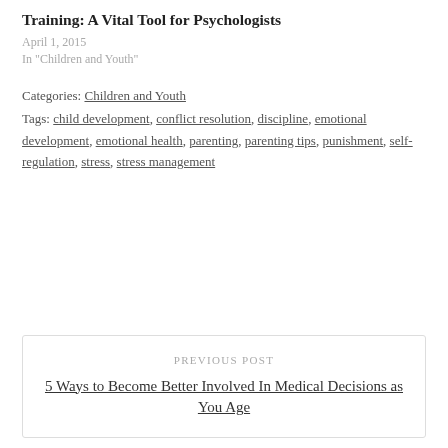Training: A Vital Tool for Psychologists
April 1, 2015
In "Children and Youth"
Categories: Children and Youth
Tags: child development, conflict resolution, discipline, emotional development, emotional health, parenting, parenting tips, punishment, self-regulation, stress, stress management
PREVIOUS POST
5 Ways to Become Better Involved In Medical Decisions as You Age